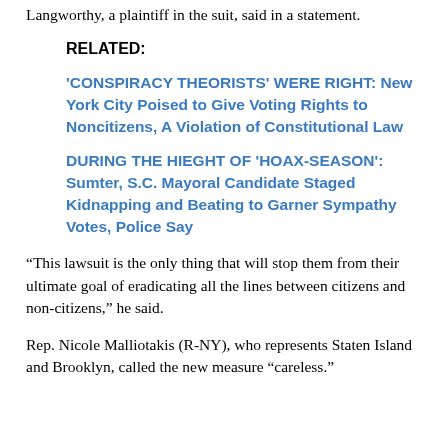Langworthy, a plaintiff in the suit, said in a statement.
RELATED:
'CONSPIRACY THEORISTS' WERE RIGHT: New York City Poised to Give Voting Rights to Noncitizens, A Violation of Constitutional Law
DURING THE HIEGHT OF 'HOAX-SEASON': Sumter, S.C. Mayoral Candidate Staged Kidnapping and Beating to Garner Sympathy Votes, Police Say
“This lawsuit is the only thing that will stop them from their ultimate goal of eradicating all the lines between citizens and non-citizens,” he said.
Rep. Nicole Malliotakis (R-NY), who represents Staten Island and Brooklyn, called the new measure “careless."